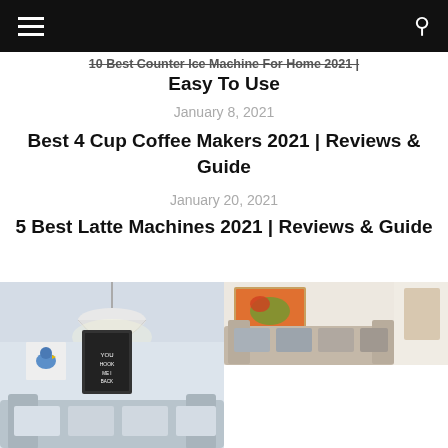Navigation bar with hamburger menu and search icon
10 Best Counter Ice Machine For Home 2021 | Easy To Use
January 8, 2021
Best 4 Cup Coffee Makers 2021 | Reviews & Guide
January 20, 2021
5 Best Latte Machines 2021 | Reviews & Guide
[Figure (photo): Two side-by-side living room interior photos. Left: modern living room with hanging lamp, framed art on wall, blue bird artwork, and couch with light pillows. Right top: cozy living room with large sofa, cushions, and colorful painting on wall. Right bottom: partial view of another interior.]